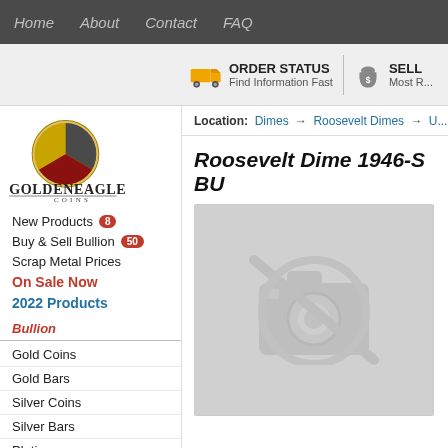Home  About  Contact  FAQ
ORDER STATUS - Find Information Fast | SELL - Most R...
[Figure (logo): Golden Eagle Coins logo with circular gold, grey and red coin graphic and text GOLDENEAGLE COINS]
New Products 8
Buy & Sell Bullion 50
Scrap Metal Prices
On Sale Now
2022 Products
Bullion
Gold Coins
Gold Bars
Silver Coins
Silver Bars
Platinum
Palladium
Location: Dimes → Roosevelt Dimes → U...
Roosevelt Dime 1946-S BU
[Figure (photo): No-image placeholder icon (camera with slash through it) on grey background]